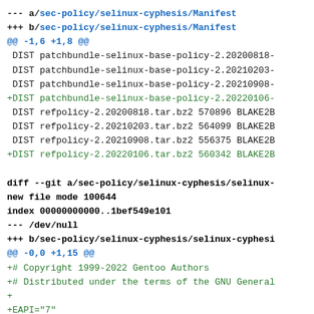--- a/sec-policy/selinux-cyphesis/Manifest
+++ b/sec-policy/selinux-cyphesis/Manifest
@@ -1,6 +1,8 @@
 DIST patchbundle-selinux-base-policy-2.20200818-
 DIST patchbundle-selinux-base-policy-2.20210203-
 DIST patchbundle-selinux-base-policy-2.20210908-
+DIST patchbundle-selinux-base-policy-2.20220106-
 DIST refpolicy-2.20200818.tar.bz2 570896 BLAKE2B
 DIST refpolicy-2.20210203.tar.bz2 564099 BLAKE2B
 DIST refpolicy-2.20210908.tar.bz2 556375 BLAKE2B
+DIST refpolicy-2.20220106.tar.bz2 560342 BLAKE2B

diff --git a/sec-policy/selinux-cyphesis/selinux-
new file mode 100644
index 00000000000..1bef549e101
--- /dev/null
+++ b/sec-policy/selinux-cyphesis/selinux-cyphesi
@@ -0,0 +1,15 @@
+# Copyright 1999-2022 Gentoo Authors
+# Distributed under the terms of the GNU General
+
+EAPI="7"